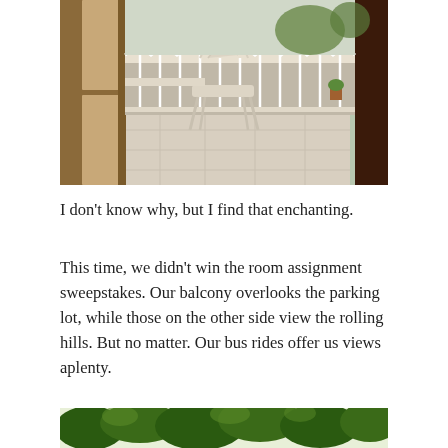[Figure (photo): View through an open doorway onto a balcony with a white plastic chair, white table, tiled floor, ornate white railing, and greenery visible beyond.]
I don't know why, but I find that enchanting.
This time, we didn't win the room assignment sweepstakes. Our balcony overlooks the parking lot, while those on the other side view the rolling hills. But no matter. Our bus rides offer us views aplenty.
[Figure (photo): Bottom portion of a photo showing green leafy foliage against a bright sky.]